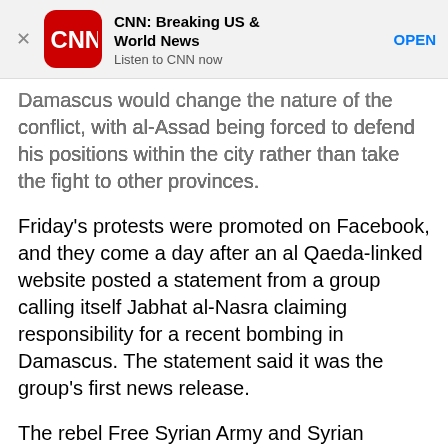[Figure (screenshot): CNN app advertisement banner with red CNN logo, app name 'CNN: Breaking US & World News', subtitle 'Listen to CNN now', and an 'OPEN' button. A close (X) button is on the left.]
Damascus would change the nature of the conflict, with al-Assad being forced to defend his positions within the city rather than take the fight to other provinces.
Friday's protests were promoted on Facebook, and they come a day after an al Qaeda-linked website posted a statement from a group calling itself Jabhat al-Nasra claiming responsibility for a recent bombing in Damascus. The statement said it was the group's first news release.
The rebel Free Syrian Army and Syrian National Council have pointed fingers at the Syrian government, saying they believe the regime set up a